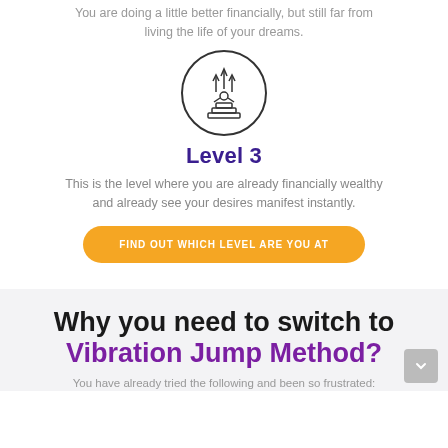You are doing a little better financially, but still far from living the life of your dreams.
[Figure (illustration): Circle icon with a person sitting in meditation pose on tiered steps with upward arrows rising around them.]
Level 3
This is the level where you are already financially wealthy and already see your desires manifest instantly.
FIND OUT WHICH LEVEL ARE YOU AT
Why you need to switch to Vibration Jump Method?
You have already tried the following and been so frustrated: